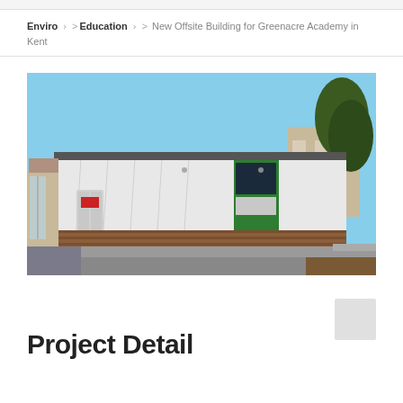Enviro > Education > New Offsite Building for Greenacre Academy in Kent
[Figure (photo): Exterior photograph of a modern single-storey school building with white and green cladding panels on the upper section and timber/brick lower cladding. Blue sky background, paved pathway in foreground, trees and an older stone building visible to the right.]
Project Detail